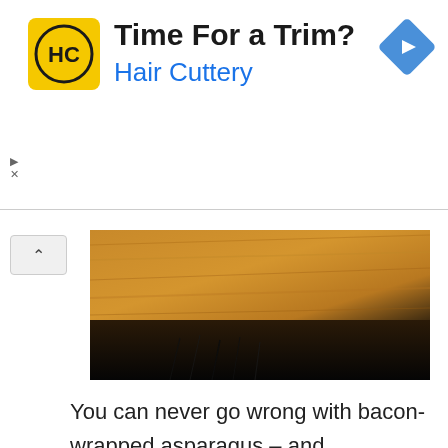[Figure (infographic): Hair Cuttery advertisement banner with yellow logo showing HC letters, title 'Time For a Trim?', subtitle 'Hair Cuttery' in blue, and a blue diamond navigation icon on the right]
[Figure (photo): Close-up photo of wooden surface with hair/bristles visible, partially cropped, showing warm brown wood tones against dark background]
You can never go wrong with bacon-wrapped asparagus – and asparagus is easy to find any time of the year thanks to greenhouse growing. Source